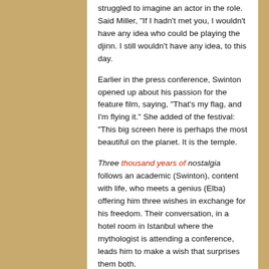struggled to imagine an actor in the role. Said Miller, “If I hadn’t met you, I wouldn’t have any idea who could be playing the djinn. I still wouldn’t have any idea, to this day.
Earlier in the press conference, Swinton opened up about his passion for the feature film, saying, “That’s my flag, and I’m flying it.” She added of the festival: “This big screen here is perhaps the most beautiful on the planet. It is the temple.
Three thousand years of nostalgia follows an academic (Swinton), content with life, who meets a genius (Elba) offering him three wishes in exchange for his freedom. Their conversation, in a hotel room in Istanbul where the mythologist is attending a conference, leads him to make a wish that surprises them both.
“We really wanted to avoid tropes of geniuses,” Elba said. “We tried to make a jinn who wants to be as human as possible.” Elba spends a lot of screen time in a hotel bathrobe.
THR by critic David Rooney. The Hollywood